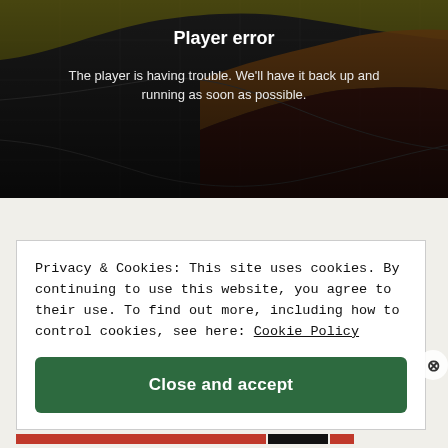[Figure (screenshot): Video player error screen showing a darkened chart background with 'Player error' title and message text in white on dark overlay]
Privacy & Cookies: This site uses cookies. By continuing to use this website, you agree to their use. To find out more, including how to control cookies, see here: Cookie Policy
Close and accept